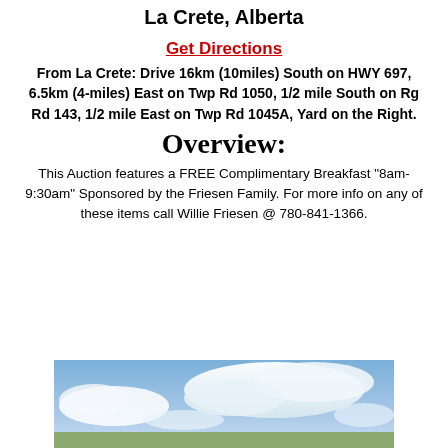La Crete, Alberta
Get Directions
From La Crete: Drive 16km (10miles) South on HWY 697, 6.5km (4-miles) East on Twp Rd 1050, 1/2 mile South on Rg Rd 143, 1/2 mile East on Twp Rd 1045A, Yard on the Right.
Overview:
This Auction features a FREE Complimentary Breakfast "8am-9:30am" Sponsored by the Friesen Family. For more info on any of these items call Willie Friesen @ 780-841-1366.
[Figure (photo): Sky photo with clouds and blue sky, partially cropped at bottom of page]